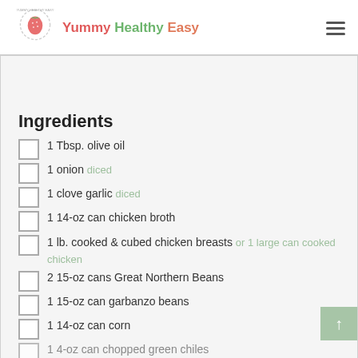Yummy Healthy Easy
Ingredients
1 Tbsp. olive oil
1 onion diced
1 clove garlic diced
1 14-oz can chicken broth
1 lb. cooked & cubed chicken breasts or 1 large can cooked chicken
2 15-oz cans Great Northern Beans
1 15-oz can garbanzo beans
1 14-oz can corn
1 4-oz can chopped green chiles
1 tsp. ground cumin
1 tsp. salt